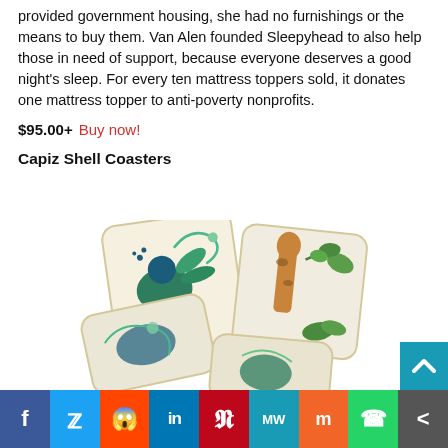provided government housing, she had no furnishings or the means to buy them. Van Alen founded Sleepyhead to also help those in need of support, because everyone deserves a good night's sleep. For every ten mattress toppers sold, it donates one mattress topper to anti-poverty nonprofits.
$95.00+  Buy now!
Capiz Shell Coasters
[Figure (photo): Four square capiz shell coasters with botanical and animal illustrations (peacock, giraffe, decorative patterns) scattered on a white background.]